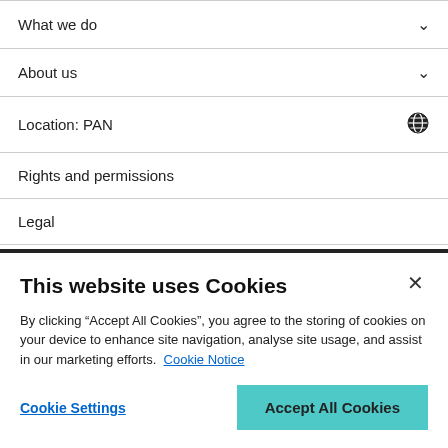What we do
About us
Location: PAN
Rights and permissions
Legal
Privacy
Modern slavery
This website uses Cookies
By clicking “Accept All Cookies”, you agree to the storing of cookies on your device to enhance site navigation, analyse site usage, and assist in our marketing efforts. Cookie Notice
Cookie Settings
Accept All Cookies